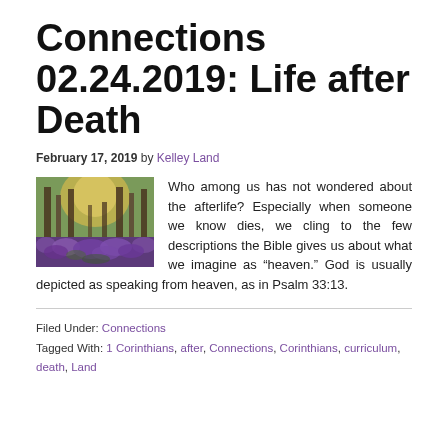Connections 02.24.2019: Life after Death
February 17, 2019 by Kelley Land
[Figure (photo): A woodland scene with purple wildflowers (bluebells) covering the forest floor, with trees and golden light in the background.]
Who among us has not wondered about the afterlife? Especially when someone we know dies, we cling to the few descriptions the Bible gives us about what we imagine as “heaven.” God is usually depicted as speaking from heaven, as in Psalm 33:13.
Filed Under: Connections
Tagged With: 1 Corinthians, after, Connections, Corinthians, curriculum, death, Land